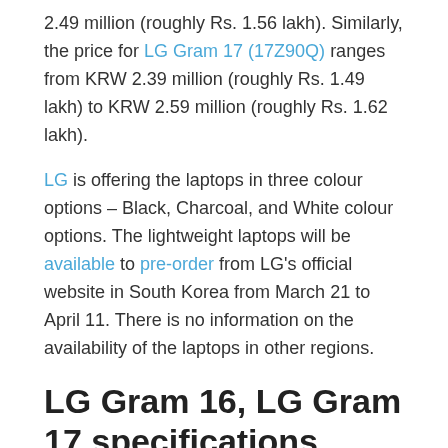2.49 million (roughly Rs. 1.56 lakh). Similarly, the price for LG Gram 17 (17Z90Q) ranges from KRW 2.39 million (roughly Rs. 1.49 lakh) to KRW 2.59 million (roughly Rs. 1.62 lakh).
LG is offering the laptops in three colour options – Black, Charcoal, and White colour options. The lightweight laptops will be available to pre-order from LG's official website in South Korea from March 21 to April 11. There is no information on the availability of the laptops in other regions.
LG Gram 16, LG Gram 17 specifications, features